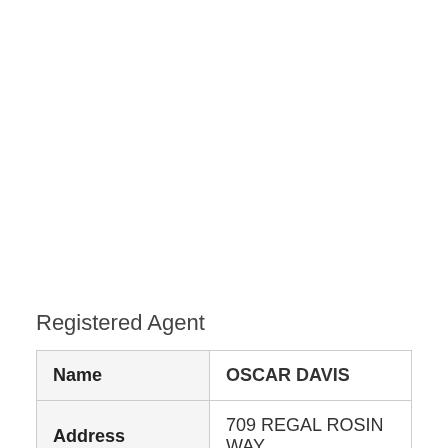Registered Agent
| Name | OSCAR DAVIS |
| Address | 709 REGAL ROSIN WAY |
| City | NORTH LAS VEGAS |